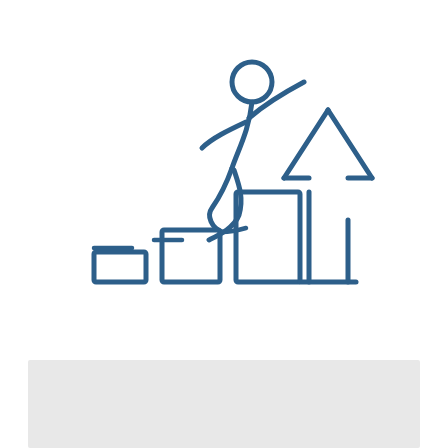[Figure (illustration): Line art icon of a stick figure person running/climbing up a staircase of three ascending blocks/bars, with a large upward arrow bar chart to the right, rendered in a dark blue outline style on white background. Symbolizes growth, progress, or career advancement.]
[Figure (other): Light gray horizontal rectangle bar at the bottom of the page, possibly a placeholder or footer background.]